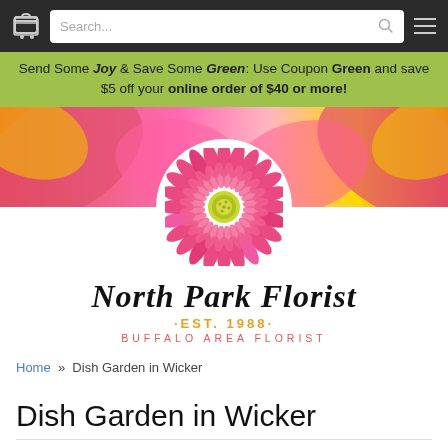[Navigation bar with cart icon, search box, and menu icon]
Send Some Joy & Save Some Green: Use Coupon Green and save $5 off your online order of $40 or more!
[Figure (photo): Pink flower / gerbera daisy logo for North Park Florist with colorful flower background. Large pink gerbera with yellow-green center on white circular background.]
North Park Florist
·EST. 1988·
BUFFALO AREA FLORIST
Home » Dish Garden in Wicker
Dish Garden in Wicker
Item # MD2020-6